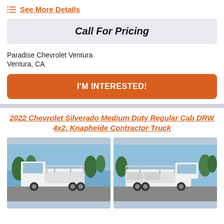See More Details
Call For Pricing
Paradise Chevrolet Ventura
Ventura, CA
I'M INTERESTED!
2022 Chevrolet Silverado Medium Duty Regular Cab DRW 4x2, Knapheide Contractor Truck
[Figure (photo): Front-side view of white 2022 Chevrolet Silverado Medium Duty contractor truck with flatbed and rack, parked in a lot with palm trees in background]
[Figure (photo): Rear-side view of white 2022 Chevrolet Silverado Medium Duty contractor truck with flatbed, ladder rack and toolboxes, parked in a lot with palm trees in background]